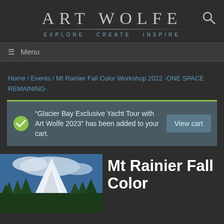ART WOLFE
EXPLORE  CREATE  INSPIRE
≡ Menu
Home / Events / Mt Rainier Fall Color Workshop 2022 -ONE SPACE REMAINING-
“Glacier Bay Exclusive Yacht Tour with Art Wolfe 2023” has been added to your cart.
[Figure (photo): Snowy Mt Rainier peak with evergreen trees and blue sky with clouds in foreground]
Mt Rainier Fall Color